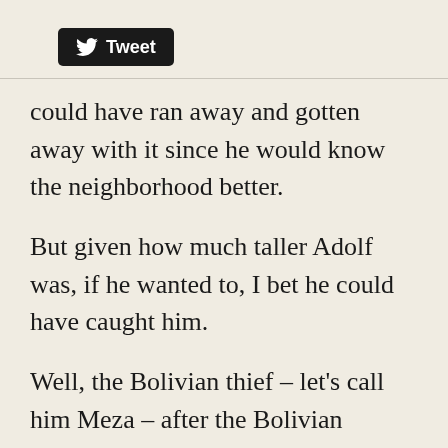[Figure (screenshot): Twitter Tweet button with bird logo on black rounded rectangle background]
could have ran away and gotten away with it since he would know the neighborhood better.
But given how much taller Adolf was, if he wanted to, I bet he could have caught him.
Well, the Bolivian thief – let's call him Meza – after the Bolivian dictator Luis Garcia